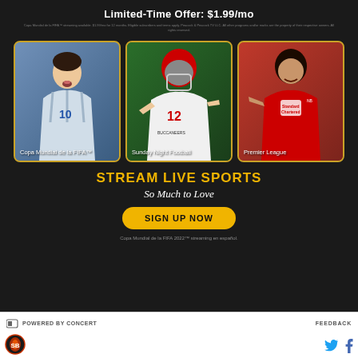Limited-Time Offer: $1.99/mo
Copa Mundial de la FIFA™ streaming available. $1.99/mo for 12 months. Eligible subscribers and terms apply. Peacock & Peacock TV LLC. All other programs and/or marks are the property of their respective owners. All rights reserved.
[Figure (photo): Three sports photo cards side by side with yellow borders: (1) Soccer player (Messi #10 in Argentina white jersey) labeled 'Copa Mundial de la FIFA™', (2) NFL quarterback (#12 Tampa Bay Buccaneers) labeled 'Sunday Night Football', (3) Soccer player in red Liverpool jersey labeled 'Premier League']
STREAM LIVE SPORTS
So Much to Love
SIGN UP NOW
Copa Mundial de la FIFA 2022™ streaming en español.
POWERED BY CONCERT
FEEDBACK